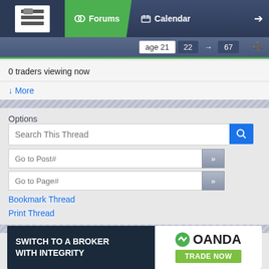Forums | Calendar | Navigation
Page 21 | 22 | → | 67
0 traders viewing now
↓ More
Options
Search This Thread
Go to Post#
Go to Page#
Bookmark Thread
Print Thread
Similar Threads
Slingshot-30 Min. PA System
394 replies
ECN && STP && Scalping && Hedging - Broker Review - Oct 2009
24 replies
[Figure (infographic): OANDA advertisement banner: SWITCH TO A BROKER WITH INTEGRITY | OANDA TRADE NOW]